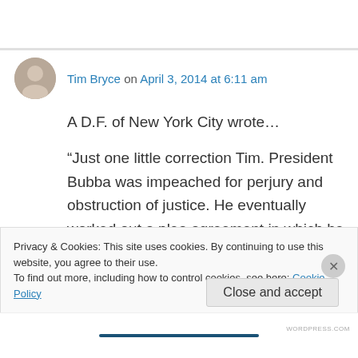Tim Bryce on April 3, 2014 at 6:11 am
A D.F. of New York City wrote…
“Just one little correction Tim. President Bubba was impeached for perjury and obstruction of justice. He eventually worked out a plea agreement in which he acknowledged that he lied under oath in a court proceeding.
Privacy & Cookies: This site uses cookies. By continuing to use this website, you agree to their use.
To find out more, including how to control cookies, see here: Cookie Policy
Close and accept